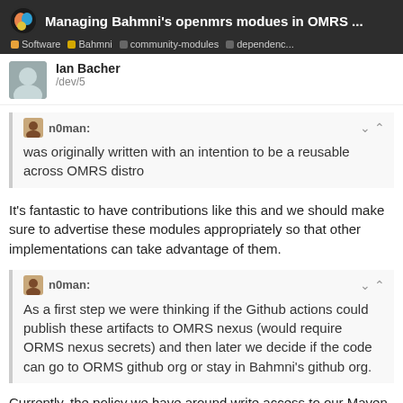Managing Bahmni's openmrs modues in OMRS ... | Software | Bahmni | community-modules | dependenc...
Ian Bacher /dev/5
n0man:
was originally written with an intention to be a reusable across OMRS distro
It's fantastic to have contributions like this and we should make sure to advertise these modules appropriately so that other implementations can take advantage of them.
n0man:
As a first step we were thinking if the Github actions could publish these artifacts to OMRS nexus (would require ORMS nexus secrets) and then later we decide if the code can go to ORMS github org or stay in Bahmni's github org.
Currently, the policy we have around write access to our Maven